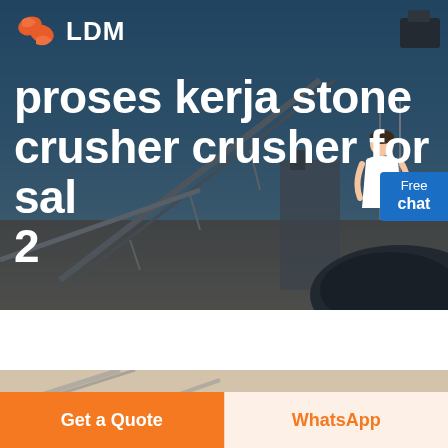[Figure (photo): Industrial stone crusher conveyor belts and aggregate pile at a quarry/construction site, blue sky background]
LDM
proses kerja stone crusher crusher for sal 2
[Figure (photo): Close-up partial view of industrial conveyor/crusher equipment]
Get a Quote
WhatsApp